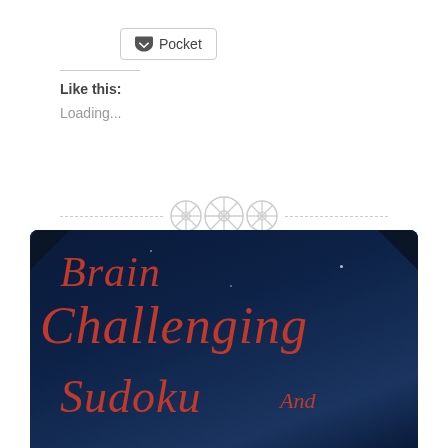[Figure (other): Pocket save button with pocket icon logo]
Like this:
Loading...
[Figure (other): Decorative divider with three circular button/snowflake icons and dashed lines on either side]
[Figure (illustration): Book cover with dark navy blue background and red cursive script text reading 'Brain Challenging Sudoku And' with decorative corner elements and star details]